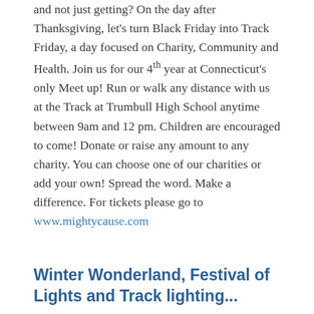and not just getting? On the day after Thanksgiving, let's turn Black Friday into Track Friday, a day focused on Charity, Community and Health. Join us for our 4th year at Connecticut's only Meet up! Run or walk any distance with us at the Track at Trumbull High School anytime between 9am and 12 pm. Children are encouraged to come! Donate or raise any amount to any charity. You can choose one of our charities or add your own! Spread the word. Make a difference. For tickets please go to www.mightycause.com
Winter Wonderland, Festival of Lights and Track lighting